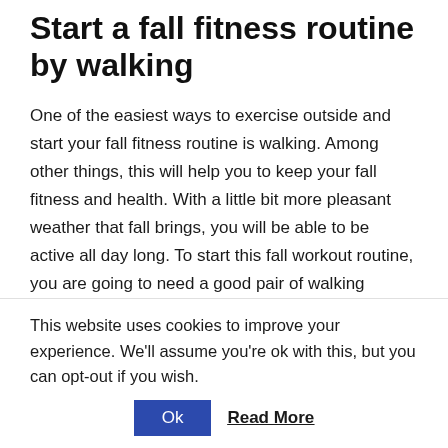Start a fall fitness routine by walking
One of the easiest ways to exercise outside and start your fall fitness routine is walking. Among other things, this will help you to keep your fall fitness and health. With a little bit more pleasant weather that fall brings, you will be able to be active all day long. To start this fall workout routine, you are going to need a good pair of walking shoes. However, the key to making walking enjoyable and successful is to make it a daily habit. So, try to walk every day when you get home from work or at night after dinner.
This website uses cookies to improve your experience. We'll assume you're ok with this, but you can opt-out if you wish.
Ok  Read More